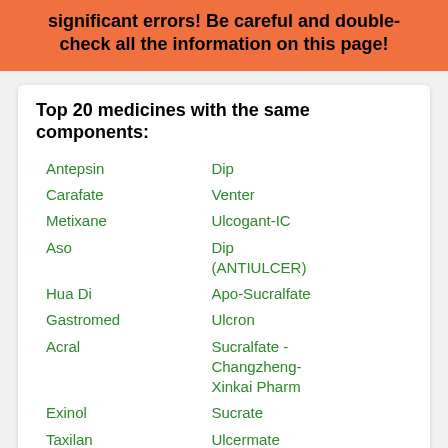significant errors! Be careful and double-check all the information on this page!
Top 20 medicines with the same components:
Antepsin
Dip
Carafate
Venter
Metixane
Ulcogant-IC
Aso
Dip (ANTIULCER)
Hua Di
Apo-Sucralfate
Gastromed
Ulcron
Acral
Sucralfate - Changzheng-Xinkai Pharm
Exinol
Sucrate
Taxilan
Ulcermate
Ancrusal
Sucari